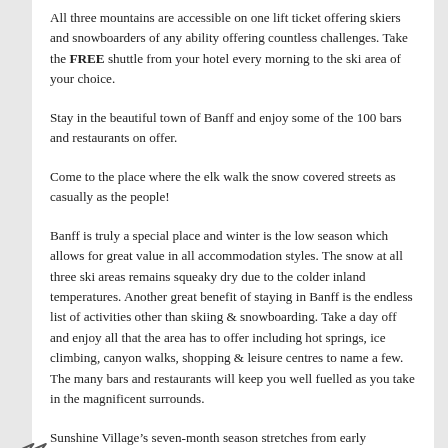All three mountains are accessible on one lift ticket offering skiers and snowboarders of any ability offering countless challenges. Take the FREE shuttle from your hotel every morning to the ski area of your choice.
Stay in the beautiful town of Banff and enjoy some of the 100 bars and restaurants on offer.
Come to the place where the elk walk the snow covered streets as casually as the people!
Banff is truly a special place and winter is the low season which allows for great value in all accommodation styles. The snow at all three ski areas remains squeaky dry due to the colder inland temperatures. Another great benefit of staying in Banff is the endless list of activities other than skiing & snowboarding. Take a day off and enjoy all that the area has to offer including hot springs, ice climbing, canyon walks, shopping & leisure centres to name a few. The many bars and restaurants will keep you well fuelled as you take in the magnificent surrounds.
Sunshine Village’s seven-month season stretches from early November until late May – the longest non-glacial season in Canada.